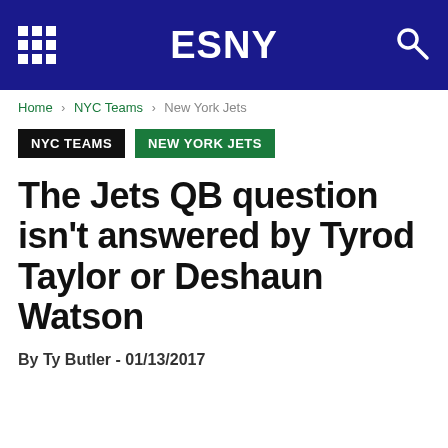ESNY
Home › NYC Teams › New York Jets
NYC TEAMS  NEW YORK JETS
The Jets QB question isn't answered by Tyrod Taylor or Deshaun Watson
By Ty Butler - 01/13/2017